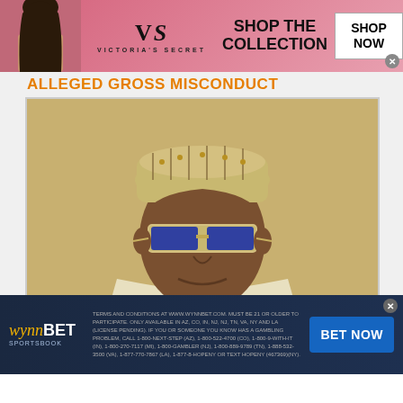[Figure (advertisement): Victoria's Secret advertisement banner with model on left, VS logo in center, 'SHOP THE COLLECTION' text, and 'SHOP NOW' button on right]
ALLEGED GROSS MISCONDUCT
[Figure (photo): Portrait photo of a man wearing a traditional Nigerian attire with a decorated cap (kufi) and blue-tinted sunglasses, cream/beige outfit]
[Figure (advertisement): WynnBET Sportsbook advertisement banner with logo, gambling terms and conditions text, and 'BET NOW' blue button]